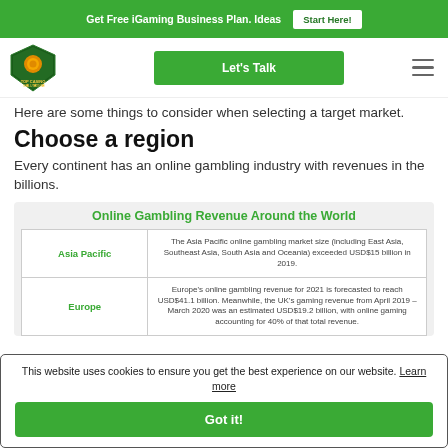Get Free iGaming Business Plan. Ideas  Start Here!
[Figure (logo): Top Casino Solutions shield logo with orange coin and green background]
Let's Talk
Here are some things to consider when selecting a target market.
Choose a region
Every continent has an online gambling industry with revenues in the billions.
| Region | Description |
| --- | --- |
| Asia Pacific | The Asia Pacific online gambling market size (including East Asia, Southeast Asia, South Asia and Oceania) exceeded USD$15 billion in 2019. |
| Europe | Europe's online gambling revenue for 2021 is forecasted to reach USD$41.1 billion. Meanwhile, the UK's gaming revenue from April 2019 – March 2020 was an estimated USD$19.2 billion, with online gaming accounting for 40% of that total revenue. |
This website uses cookies to ensure you get the best experience on our website. Learn more
Got it!